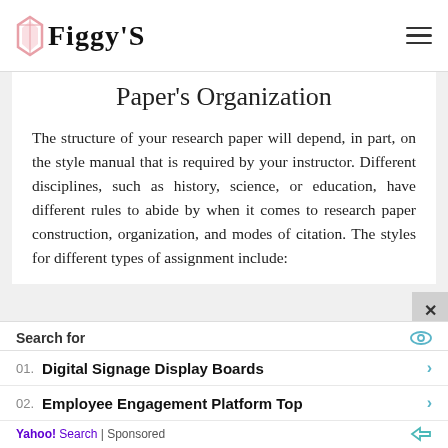Figgy'S
Paper's Organization
The structure of your research paper will depend, in part, on the style manual that is required by your instructor. Different disciplines, such as history, science, or education, have different rules to abide by when it comes to research paper construction, organization, and modes of citation. The styles for different types of assignment include:
Search for
01. Digital Signage Display Boards
02. Employee Engagement Platform Top
Yahoo! Search | Sponsored